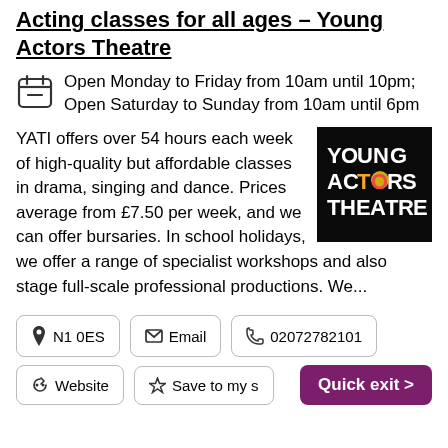Acting classes for all ages – Young Actors Theatre
Open Monday to Friday from 10am until 10pm; Open Saturday to Sunday from 10am until 6pm
YATI offers over 54 hours each week of high-quality but affordable classes in drama, singing and dance. Prices average from £7.50 per week, and we can offer bursaries. In school holidays, we offer a range of specialist workshops and also stage full-scale professional productions. We...
[Figure (logo): Young Actors Theatre logo: white text on black background reading YOUNG ACTORS THEATRE with coloured letter highlights]
N1 0ES
Email
02072782101
Website
Save to my s
Quick exit >